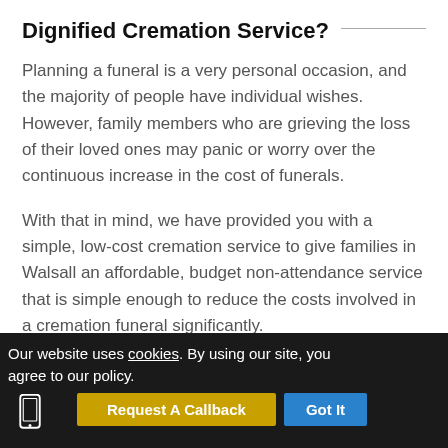Dignified Cremation Service?
Planning a funeral is a very personal occasion, and the majority of people have individual wishes. However, family members who are grieving the loss of their loved ones may panic or worry over the continuous increase in the cost of funerals.
With that in mind, we have provided you with a simple, low-cost cremation service to give families in Walsall an affordable, budget non-attendance service that is simple enough to reduce the costs involved in a cremation funeral significantly.
Our website uses cookies. By using our site, you agree to our policy. Request A Callback Got It